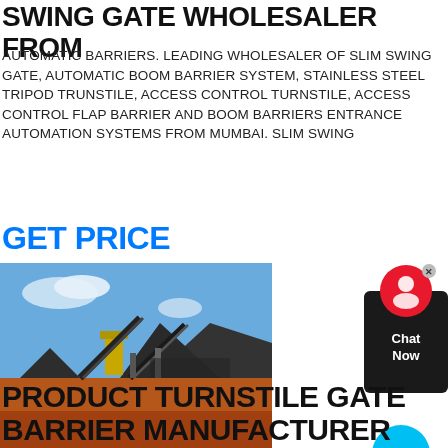SWING GATE WHOLESALER FROM
AUTOMATIC BARRIERS. LEADING WHOLESALER OF SLIM SWING GATE, AUTOMATIC BOOM BARRIER SYSTEM, STAINLESS STEEL TRIPOD TRUNSTILE, ACCESS CONTROL TURNSTILE, ACCESS CONTROL FLAP BARRIER AND BOOM BARRIERS ENTRANCE AUTOMATION SYSTEMS FROM MUMBAI. SLIM SWING
GET PRICE
[Figure (photo): Industrial mining/quarrying site with conveyor belts, machinery, and piles of crushed stone/gravel against a blue sky]
[Figure (other): Chat widget with red circle icon and Chat Now text on dark background]
[Figure (other): Cyan chat bubble button]
PRODUCT TURNSTILE GATE BARRIER MANUFACTURER